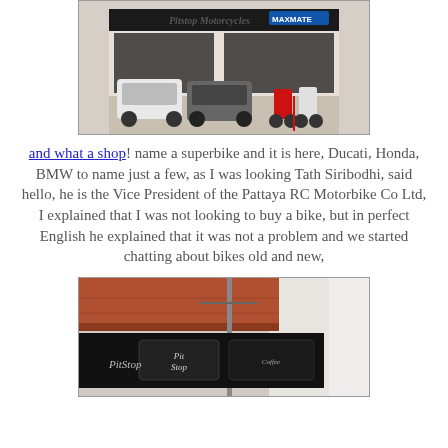[Figure (photo): Exterior of Pitstop Motorcycles shop with MaxMate branding, cars parked in front, motorcycles including a red Ducati visible]
and what a shop! name a superbike and it is here, Ducati, Honda, BMW to name just a few, as I was looking Tath Siribodhi, said hello, he is the Vice President of the Pattaya RC Motorbike Co Ltd, I explained that I was not looking to buy a bike, but in perfect English he explained that it was not a problem and we started chatting about bikes old and new,
[Figure (photo): Exterior building sign of Pitstop shop with PitStop logo and other signage visible, tiled roof and utility pole in background]